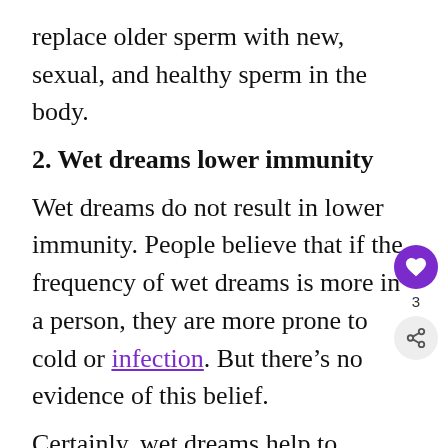replace older sperm with new, sexual, and healthy sperm in the body.
2. Wet dreams lower immunity
Wet dreams do not result in lower immunity. People believe that if the frequency of wet dreams is more in a person, they are more prone to cold or infection. But there’s no evidence of this belief.
Certainly, wet dreams help to remove the excessive and older sperms in the testicle. But doing this is a healthy sexual activity for